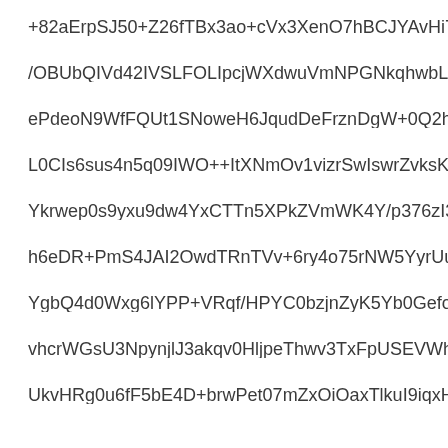+82aErpSJ50+Z26fTBx3ao+cVx3XenO7hBCJYAvHi73TfZXT2
/OBUbQIVd42IVSLFOLIpcjWXdwuVmNPGNkqhwbLa2xUABt
ePdeoN9WfFQUt1SNoweH6JqudDeFrznDgW+0Q2hcy4sSPI
L0CIs6sus4n5q09IWO++ItXNmOv1vizrSwIswrZvksKv2Qkclc/
Ykrwep0s9yxu9dw4YxCTTn5XPkZVmWK4Y/p376zI3fYmq30I
h6eDR+PmS4JAI2OwdTRnTVv+6ry4o75rNW5YyrUuhFT13S
YgbQ4d0Wxg6lYPP+VRqf/HPYC0bzjnZyK5Yb0GefoaAxCMx
vhcrWGsU3NpynjlJ3akqv0HljpeThwv3TxFpUSEVWhRh4EN6
UkvHRg0u6fF5bE4D+brwPet07mZxOiOaxTlkuI9iqxHYNZtw8